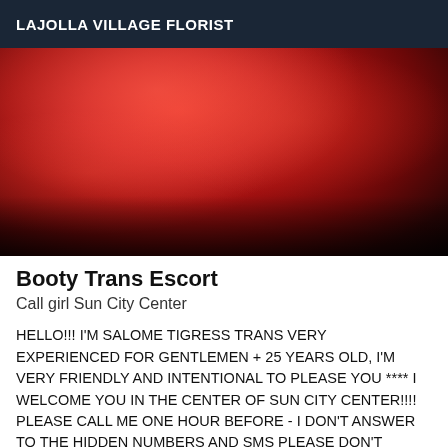LAJOLLA VILLAGE FLORIST
[Figure (photo): Close-up photo of a person in a bright red/pink outfit under red lighting, showing the torso and hands area against a dark background.]
Booty Trans Escort
Call girl Sun City Center
HELLO!!! I'M SALOME TIGRESS TRANS VERY EXPERIENCED FOR GENTLEMEN + 25 YEARS OLD, I'M VERY FRIENDLY AND INTENTIONAL TO PLEASE YOU **** I WELCOME YOU IN THE CENTER OF SUN CITY CENTER!!!! PLEASE CALL ME ONE HOUR BEFORE - I DON'T ANSWER TO THE HIDDEN NUMBERS AND SMS PLEASE DON'T INSIST. I offer a